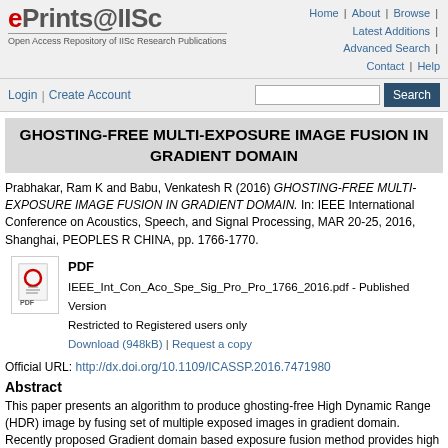ePrints@IISc | Open Access Repository of IISc Research Publications | Home | About | Browse | Latest Additions | Advanced Search | Contact | Help
Login | Create Account | Search
GHOSTING-FREE MULTI-EXPOSURE IMAGE FUSION IN GRADIENT DOMAIN
Prabhakar, Ram K and Babu, Venkatesh R (2016) GHOSTING-FREE MULTI-EXPOSURE IMAGE FUSION IN GRADIENT DOMAIN. In: IEEE International Conference on Acoustics, Speech, and Signal Processing, MAR 20-25, 2016, Shanghai, PEOPLES R CHINA, pp. 1766-1770.
[Figure (other): PDF icon with red circle and document lines]
PDF
IEEE_Int_Con_Aco_Spe_Sig_Pro_Pro_1766_2016.pdf - Published Version
Restricted to Registered users only
Download (948kB) | Request a copy
Official URL: http://dx.doi.org/10.1109/ICASSP.2016.7471980
Abstract
This paper presents an algorithm to produce ghosting-free High Dynamic Range (HDR) image by fusing set of multiple exposed images in gradient domain. Recently proposed Gradient domain based exposure fusion method provides high quality result but the scope of which is limited to static camera without foreground object motion. The presence of moving objects/hand shake